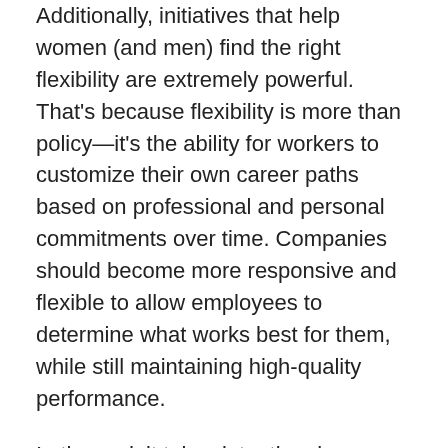Additionally, initiatives that help women (and men) find the right flexibility are extremely powerful. That's because flexibility is more than policy—it's the ability for workers to customize their own career paths based on professional and personal commitments over time. Companies should become more responsive and flexible to allow employees to determine what works best for them, while still maintaining high-quality performance.
In the end, it takes intentional commitment and accountability throughout an organization to build an inclusive culture where everyone can thrive and become leaders.
Leave a Reply
Your email address will not be published. Required fields are marked *